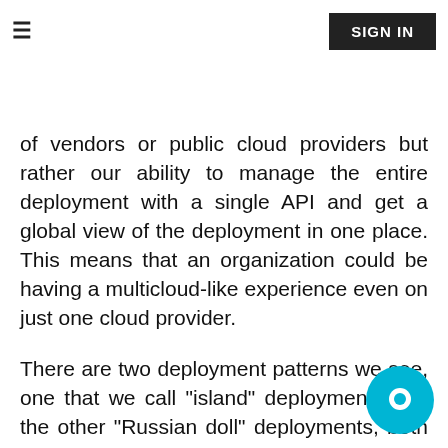≡  SIGN IN
and the complexity it brings to deployments. We don't actually think in terms of vendors or public cloud providers but rather our ability to manage the entire deployment with a single API and get a global view of the deployment in one place. This means that an organization could be having a multicloud-like experience even on just one cloud provider.
There are two deployment patterns we see, one that we call "island" deployments and the other "Russian doll" deployments, both of which behave very much like multicloud even if there is only one cloud provider